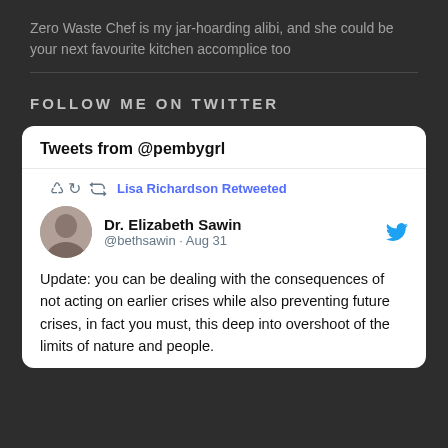Zero Waste Chef is my jar-hoarding alibi, and she could be your next favourite kitchen accomplice too
FOLLOW ME ON TWITTER
[Figure (screenshot): Embedded Twitter widget showing tweets from @pembygrl. Contains a retweet by Lisa Richardson of Dr. Elizabeth Sawin (@bethsawin, Aug 31) with text: 'Update: you can be dealing with the consequences of not acting on earlier crises while also preventing future crises, in fact you must, this deep into overshoot of the limits of nature and people.']